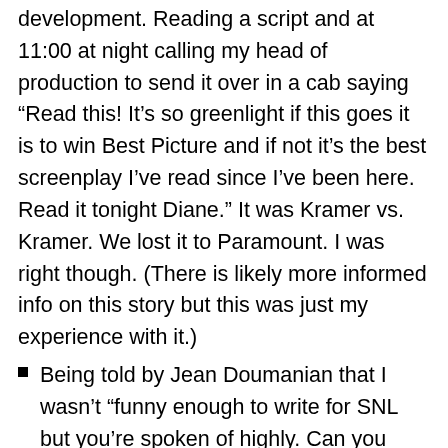development. Reading a script and at 11:00 at night calling my head of production to send it over in a cab saying "Read this! It's so greenlight if this goes it is to win Best Picture and if not it's the best screenplay I've read since I've been here. Read it tonight Diane." It was Kramer vs. Kramer. We lost it to Paramount. I was right though. (There is likely more informed info on this story but this was just my experience with it.)
Being told by Jean Doumanian that I wasn't "funny enough to write for SNL but you're spoken of highly. Can you type?" Notes on a script shown to me by another writer: "make it funnier." (This is background for the famous article in The New Yorker.
Writing for SNL after Lorne sacked her. (Huge long story here. I discuss this on a podcast and more. Please listen: